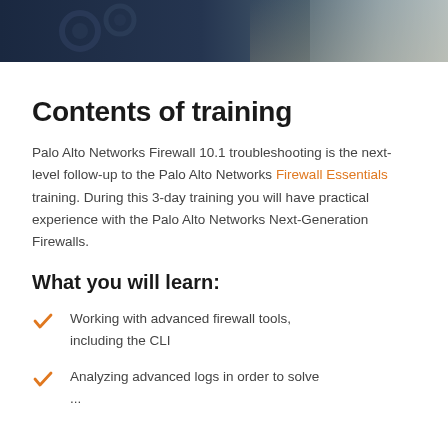[Figure (photo): Dark blue header image with gears and hands, partial view at top of page]
Contents of training
Palo Alto Networks Firewall 10.1 troubleshooting is the next-level follow-up to the Palo Alto Networks Firewall Essentials training. During this 3-day training you will have practical experience with the Palo Alto Networks Next-Generation Firewalls.
What you will learn:
Working with advanced firewall tools, including the CLI
Analyzing advanced logs in order to solve